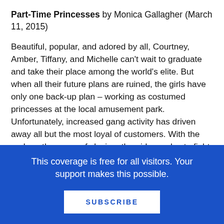Part-Time Princesses by Monica Gallagher (March 11, 2015)
Beautiful, popular, and adored by all, Courtney, Amber, Tiffany, and Michelle can't wait to graduate and take their place among the world's elite. But when all their future plans are ruined, the girls have only one back-up plan – working as costumed princesses at the local amusement park. Unfortunately, increased gang activity has driven away all but the most loyal of customers. With the park on the verge of closing, the girls resolve to fight back, bring back their adoring customers, save the amusement park they never wanted to work at, and maybe learn something about themselves along the
This coverage is free for all visitors. Your support makes this possible.
SUBSCRIBE